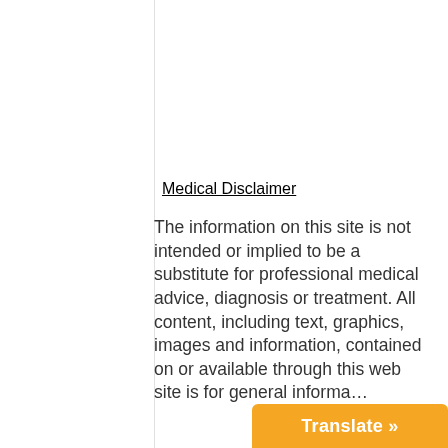Medical Disclaimer
The information on this site is not intended or implied to be a substitute for professional medical advice, diagnosis or treatment. All content, including text, graphics, images and information, contained on or available through this web site is for general informa…